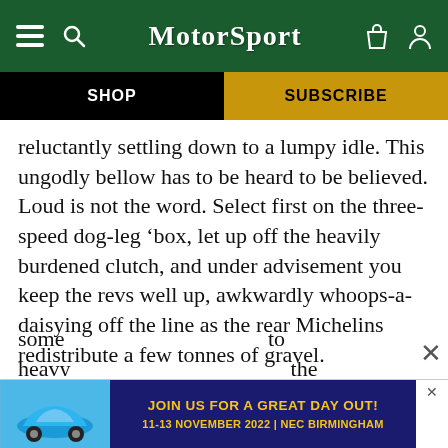MotorSport
SHOP
SUBSCRIBE
reluctantly settling down to a lumpy idle. This ungodly bellow has to be heard to be believed. Loud is not the word. Select first on the three-speed dog-leg ‘box, let up off the heavily burdened clutch, and under advisement you keep the revs well up, awkwardly whoops-a-daisying off the line as the rear Michelins redistribute a few tonnes of gravel.
The sheer amount of torque here is astounding. Change up at about 40mph and the Reo gets bogged down. Change back into first. Expecting some... | to heavy... the
[Figure (advertisement): Motor Sport event ad: blue Porsche 911 car image, dark blue background with yellow text 'JOIN US FOR A GREAT DAY OUT! 11-13 NOVEMBER 2022 | NEC BIRMINGHAM']